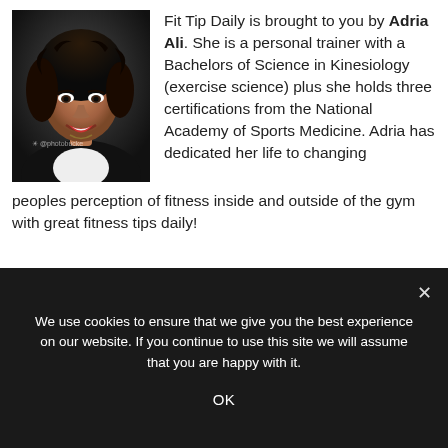[Figure (photo): Portrait photo of Adria Ali, a woman with curly dark hair, smiling, wearing a white top, against a dark background. A small camera watermark icon and text appears in the lower left area of the photo.]
Fit Tip Daily is brought to you by Adria Ali. She is a personal trainer with a Bachelors of Science in Kinesiology (exercise science) plus she holds three certifications from the National Academy of Sports Medicine. Adria has dedicated her life to changing peoples perception of fitness inside and outside of the gym with great fitness tips daily!
We use cookies to ensure that we give you the best experience on our website. If you continue to use this site we will assume that you are happy with it.
OK